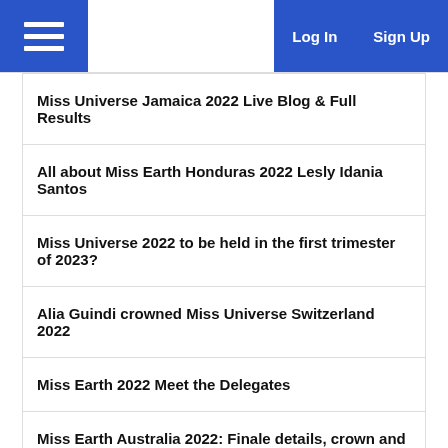Log In | Sign Up
Miss Universe Jamaica 2022 Live Blog & Full Results
All about Miss Earth Honduras 2022 Lesly Idania Santos
Miss Universe 2022 to be held in the first trimester of 2023?
Alia Guindi crowned Miss Universe Switzerland 2022
Miss Earth 2022 Meet the Delegates
Miss Earth Australia 2022: Finale details, crown and more
Recent Events
Miss USA 2021
Miss South Africa 2021
Miss Suomi 2021
Miss Earth Panama 2021